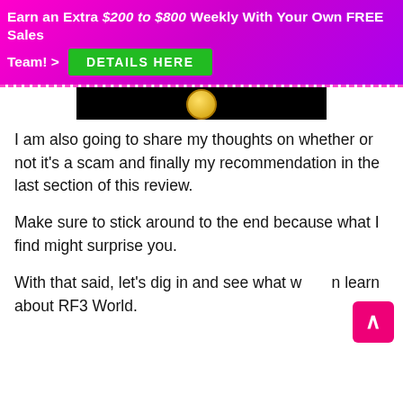Earn an Extra $200 to $800 Weekly With Your Own FREE Sales Team! > DETAILS HERE
[Figure (photo): Black image strip with a gold coin/logo icon visible, partially cut off at top]
I am also going to share my thoughts on whether or not it’s a scam and finally my recommendation in the last section of this review.
Make sure to stick around to the end because what I find might surprise you.
With that said, let’s dig in and see what we can learn about RF3 World.